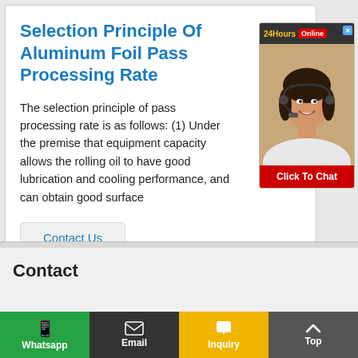Selection Principle Of Aluminum Foil Pass Processing Rate
The selection principle of pass processing rate is as follows: (1) Under the premise that equipment capacity allows the rolling oil to have good lubrication and cooling performance, and can obtain good surface
[Figure (other): 24Hours Online chat widget with a customer service representative photo and Click To Chat button]
Contact Us
Contact
Whatsapp | Email | Inquiry | Top